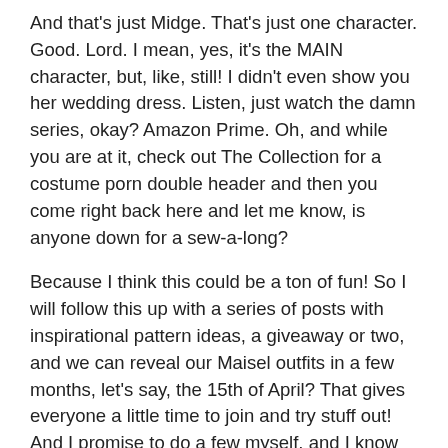And that's just Midge. That's just one character. Good. Lord. I mean, yes, it's the MAIN character, but, like, still! I didn't even show you her wedding dress. Listen, just watch the damn series, okay? Amazon Prime. Oh, and while you are at it, check out The Collection for a costume porn double header and then you come right back here and let me know, is anyone down for a sew-a-long?
Because I think this could be a ton of fun! So I will follow this up with a series of posts with inspirational pattern ideas, a giveaway or two, and we can reveal our Maisel outfits in a few months, let's say, the 15th of April? That gives everyone a little time to join and try stuff out! And I promise to do a few myself, and I know that everyone's favorite Blog for Better Sewing has a Charm patterns release coming up which she said should make fans of that red number up there very happy, soooooo…….